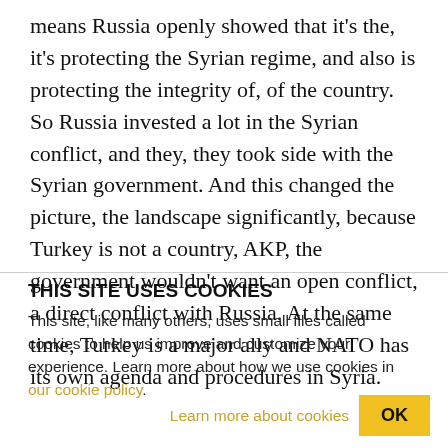means Russia openly showed that it's the, it's protecting the Syrian regime, and also is protecting the integrity of, of the country. So Russia invested a lot in the Syrian conflict, and they, they took side with the Syrian government. And this changed the picture, the landscape significantly, because Turkey is not a country, AKP, the government wouldn't want an open conflict, a direct conflict with Russia. At the same time, Turkey is a major ally and NATO has its own agenda and procedures in Syria.
THIS SITE USES COOKIES
This site, like many others, uses small files called cookies to help us improve and customize your experience. Learn more about how we use cookies in our cookie policy.
Learn more about cookies   OK